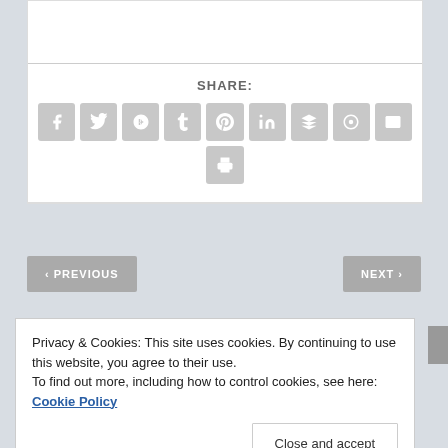SHARE:
[Figure (screenshot): Row of social media share icon buttons: Facebook, Twitter, Google+, Tumblr, Pinterest, LinkedIn, Buffer, StumbleUpon, Email, and a Print button below]
< PREVIOUS
NEXT >
Privacy & Cookies: This site uses cookies. By continuing to use this website, you agree to their use.
To find out more, including how to control cookies, see here: Cookie Policy
Close and accept